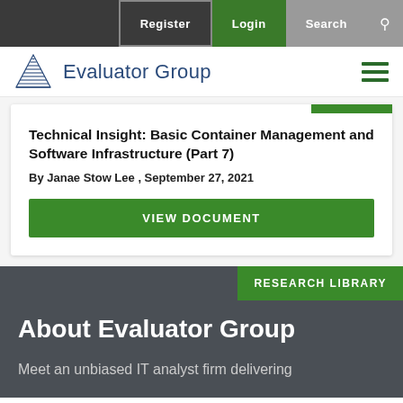Register | Login | Search
[Figure (logo): Evaluator Group logo with blue triangle pyramid and text 'Evaluator Group']
Technical Insight: Basic Container Management and Software Infrastructure (Part 7)
By Janae Stow Lee , September 27, 2021
VIEW DOCUMENT
RESEARCH LIBRARY
About Evaluator Group
Meet an unbiased IT analyst firm delivering